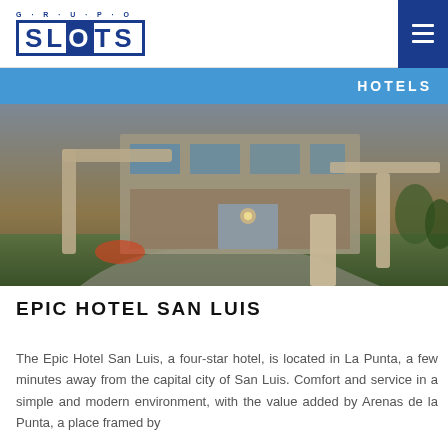GRUPO SLOTS
HOTELS
[Figure (photo): Exterior view of Epic Hotel San Luis at dusk, showing the entrance driveway, modern architectural facade with glass and concrete, green lawn, and a large structural arch/canopy in the foreground.]
EPIC HOTEL SAN LUIS
The Epic Hotel San Luis, a four-star hotel, is located in La Punta, a few minutes away from the capital city of San Luis. Comfort and service in a simple and modern environment, with the value added by Arenas de la Punta, a place framed by